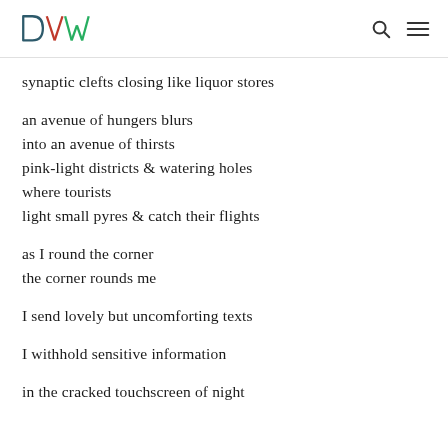DVW [logo] [search icon] [menu icon]
synaptic clefts closing like liquor stores

an avenue of hungers blurs
into an avenue of thirsts
pink-light districts & watering holes
where tourists
light small pyres & catch their flights

as I round the corner
the corner rounds me

I send lovely but uncomforting texts

I withhold sensitive information

in the cracked touchscreen of night